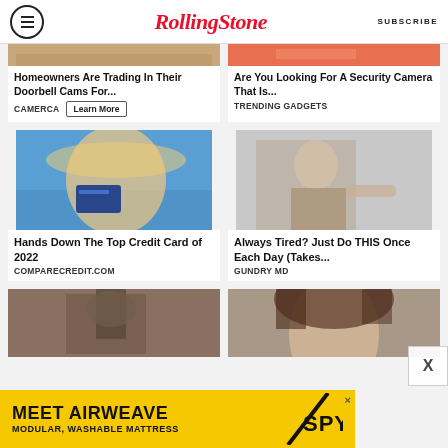RollingStone | SUBSCRIBE
[Figure (photo): Partial top of two ad images cropped]
Homeowners Are Trading In Their Doorbell Cams For...
CAMERCA | Learn More
Are You Looking For A Security Camera That Is...
TRENDING GADGETS
[Figure (photo): Woman at beach holding credit card wearing sun hat]
Hands Down The Top Credit Card of 2022
COMPARECREDIT.COM
[Figure (photo): Older man in suit pointing at something]
Always Tired? Just Do THIS Once Each Day (Takes...
GUNDRY MD
[Figure (photo): Partial images at bottom cropped - outdoor fixture and woman face]
MEET AIRWEAVE MODULAR, WASHABLE MATTRESS